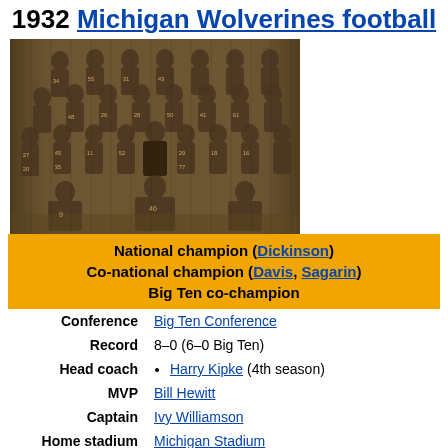1932 Michigan Wolverines football
[Figure (photo): Black and white sepia team photo of the 1932 Michigan Wolverines football team, showing multiple rows of players in numbered jerseys with a coach in a suit in the center]
National champion (Dickinson)
Co-national champion (Davis, Sagarin)
Big Ten co-champion
| Conference | Big Ten Conference |
| Record | 8–0 (6–0 Big Ten) |
| Head coach | Harry Kipke (4th season) |
| MVP | Bill Hewitt |
| Captain | Ivy Williamson |
| Home stadium | Michigan Stadium |